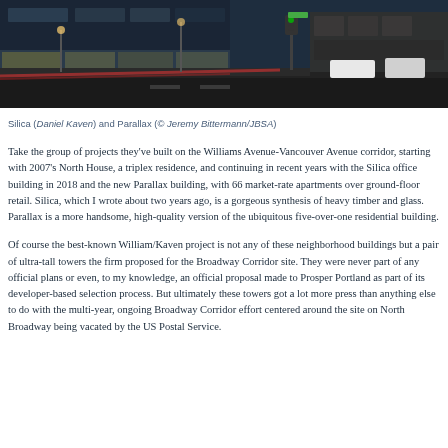[Figure (photo): Street-level nighttime/dusk photo of an urban intersection showing commercial buildings with storefronts and illuminated windows, light streaks from traffic visible on the street.]
Silica (Daniel Kaven) and Parallax (© Jeremy Bittermann/JBSA)
Take the group of projects they've built on the Williams Avenue-Vancouver Avenue corridor, starting with 2007's North House, a triplex residence, and continuing in recent years with the Silica office building in 2018 and the new Parallax building, with 66 market-rate apartments over ground-floor retail. Silica, which I wrote about two years ago, is a gorgeous synthesis of heavy timber and glass. Parallax is a more handsome, high-quality version of the ubiquitous five-over-one residential building.
Of course the best-known William/Kaven project is not any of these neighborhood buildings but a pair of ultra-tall towers the firm proposed for the Broadway Corridor site. They were never part of any official plans or even, to my knowledge, an official proposal made to Prosper Portland as part of its developer-based selection process. But ultimately these towers got a lot more press than anything else to do with the multi-year, ongoing Broadway Corridor effort centered around the site on North Broadway being vacated by the US Postal Service.